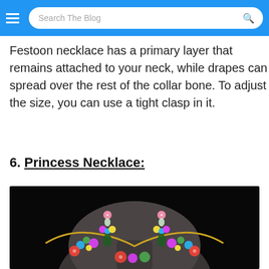Search The Blog
Festoon necklace has a primary layer that remains attached to your neck, while drapes can spread over the rest of the collar bone. To adjust the size, you can use a tight clasp in it.
6. Princess Necklace:
[Figure (photo): A colorful floral jewellery set (necklace and earrings) with multicoloured gemstones displayed on a dark mannequin neck bust against a black background.]